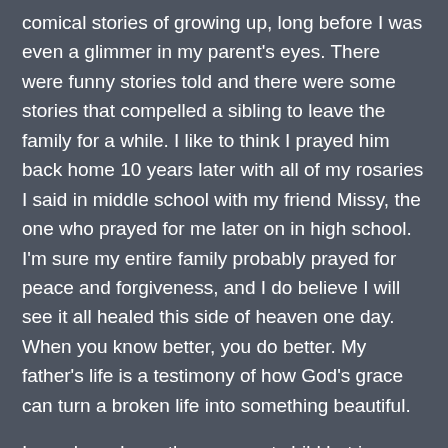comical stories of growing up, long before I was even a glimmer in my parent's eyes. There were funny stories told and there were some stories that compelled a sibling to leave the family for a while. I like to think I prayed him back home 10 years later with all of my rosaries I said in middle school with my friend Missy, the one who prayed for me later on in high school.  I'm sure my entire family probably prayed for peace and forgiveness, and I do believe I will see it all healed this side of heaven one day.  When you know better, you do better. My father's life is a testimony of how God's grace can turn a broken life into something beautiful.
I may have been the youngest child but in my little heart, nobody better mess with my siblings! Parti...